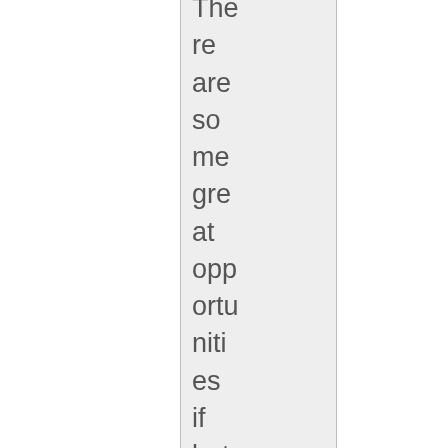There are some great opportunities if both buyer and sellers are patient and this was one of the